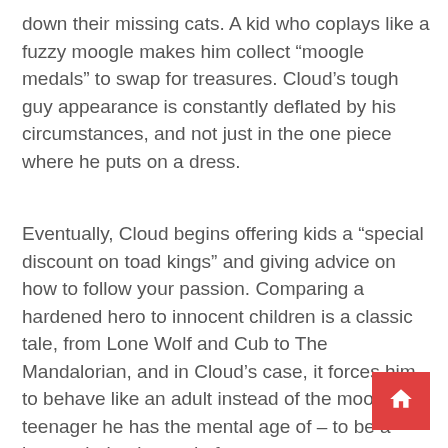down their missing cats. A kid who coplays like a fuzzy moogle makes him collect “moogle medals” to swap for treasures. Cloud’s tough guy appearance is constantly deflated by his circumstances, and not just in the one piece where he puts on a dress.
Eventually, Cloud begins offering kids a “special discount on toad kings” and giving advice on how to follow your passion. Comparing a hardened hero to innocent children is a classic tale, from Lone Wolf and Cub to The Mandalorian, and in Cloud’s case, it forces him to behave like an adult instead of the moody teenager he has the mental age of – to be a human being instead of a stereotype.
[Figure (other): Red square button with a white home/house icon]